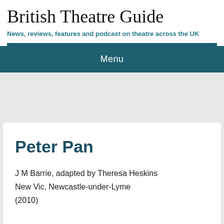British Theatre Guide
News, reviews, features and podcast on theatre across the UK
Menu
Peter Pan
J M Barrie, adapted by Theresa Heskins
New Vic, Newcastle-under-Lyme
(2010)